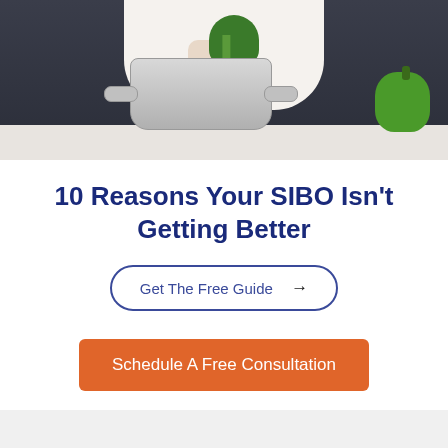[Figure (photo): Person placing broccoli into a stainless steel pot on a kitchen counter, with a green bell pepper visible on the right side, dark background]
10 Reasons Your SIBO Isn't Getting Better
Get The Free Guide →
Schedule A Free Consultation